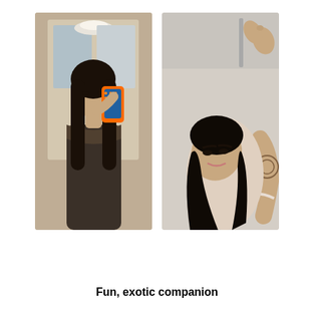[Figure (photo): Two photos side by side: left photo shows a woman taking a mirror selfie holding an orange phone case, wearing a dark lace-trim top in a bathroom; right photo shows a woman with long dark hair lying down looking at camera with a tattoo visible on her arm.]
Fun, exotic companion